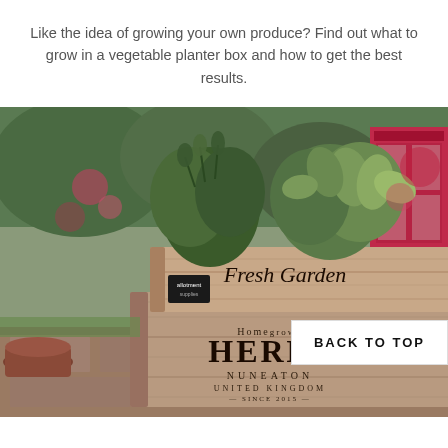Like the idea of growing your own produce? Find out what to grow in a vegetable planter box and how to get the best results.
[Figure (photo): A wooden crate planter box filled with fresh herbs including rosemary and sage, with text 'Fresh Garden Homegrown HERBS NUNEATON UNITED KINGDOM'. Set in a garden with pink/red flowers and a red telephone box visible in the background.]
BACK TO TOP